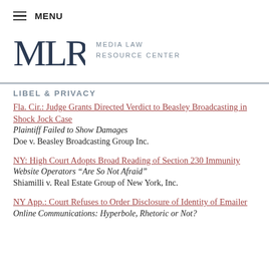MENU
[Figure (logo): MLRC Media Law Resource Center logo with stylized letters MLRC and text MEDIA LAW RESOURCE CENTER]
LIBEL & PRIVACY
Fla. Cir.: Judge Grants Directed Verdict to Beasley Broadcasting in Shock Jock Case | Plaintiff Failed to Show Damages | Doe v. Beasley Broadcasting Group Inc.
NY: High Court Adopts Broad Reading of Section 230 Immunity | Website Operators “Are So Not Afraid” | Shiamilli v. Real Estate Group of New York, Inc.
NY App.: Court Refuses to Order Disclosure of Identity of Emailer | Online Communications: Hyperbole, Rhetoric or Not?